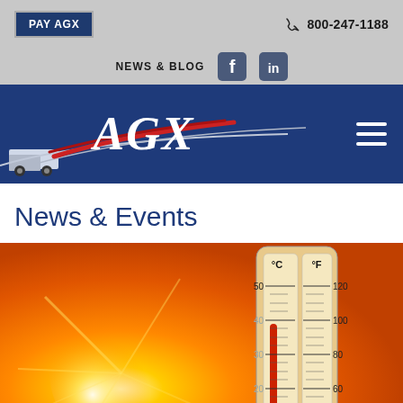PAY AGX | 800-247-1188
NEWS & BLOG
[Figure (logo): AGX company logo with airplane and truck on dark blue background]
News & Events
[Figure (photo): Thermometer showing Celsius and Fahrenheit scales against a hot orange sun background. Celsius: 10, 20, 30, 40, 50. Fahrenheit: 60, 80, 100, 120.]